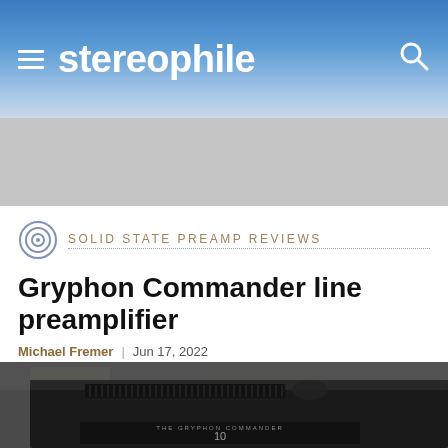stereophile
[Figure (photo): Grey advertisement/banner placeholder area]
SOLID STATE PREAMP REVIEWS
Gryphon Commander line preamplifier
Michael Fremer | Jun 17, 2022
[Figure (photo): Black Gryphon Commander line preamplifier unit photographed from above-front angle, showing top panel with ventilation grilles, a griffin logo, and front panel displaying THE GRYPHON COMMANDER label and volume display showing number 10, against a concrete-textured background]